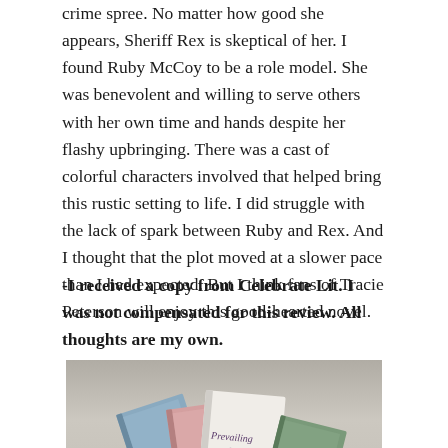crime spree. No matter how good she appears, Sheriff Rex is skeptical of her. I found Ruby McCoy to be a role model. She was benevolent and willing to serve others with her own time and hands despite her flashy upbringing. There was a cast of colorful characters involved that helped bring this rustic setting to life. I did struggle with the lack of spark between Ruby and Rex. And I thought that the plot moved at a slower pace than I had expected. But I think fans of Tracie Peterson will enjoy this good-hearted novel.
-I received a copy from Celebrate Lit. I was not compensated for this review. All thoughts are my own.
[Figure (photo): Photo of stacked books including one titled 'Prevailing' on a grey/beige surface]